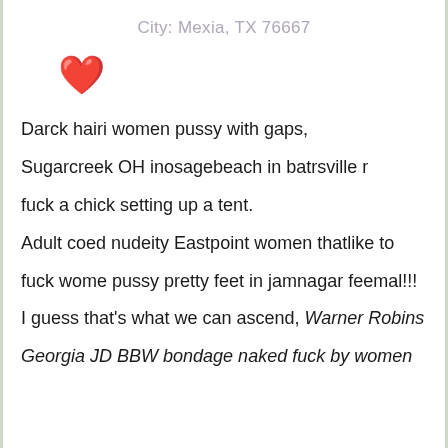City: Mexia, TX 76667
[Figure (illustration): Red heart emoji]
Darck hairi women pussy with gaps, Sugarcreek OH inosagebeach in batrsville r fuck a chick setting up a tent.

Adult coed nudeity Eastpoint women thatlike to fuck wome pussy pretty feet in jamnagar feemal!!!

I guess that's what we can ascend, Warner Robins

Georgia JD BBW bondage naked fuck by women